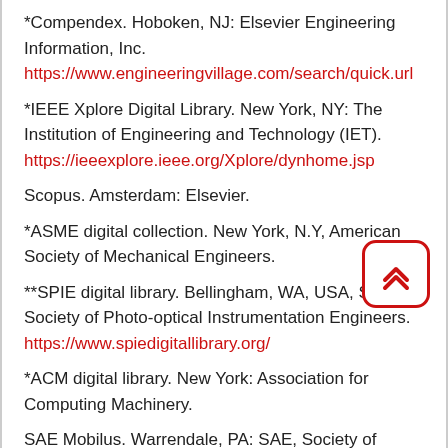*Compendex. Hoboken, NJ: Elsevier Engineering Information, Inc.
https://www.engineeringvillage.com/search/quick.url
*IEEE Xplore Digital Library. New York, NY: The Institution of Engineering and Technology (IET).
https://ieeexplore.ieee.org/Xplore/dynhome.jsp
Scopus. Amsterdam: Elsevier.
*ASME digital collection. New York, N.Y, American Society of Mechanical Engineers.
**SPIE digital library. Bellingham, WA, USA, SPIE, Society of Photo-optical Instrumentation Engineers.
https://www.spiedigitallibrary.org/
*ACM digital library. New York: Association for Computing Machinery.
SAE Mobilus. Warrendale, PA: SAE, Society of